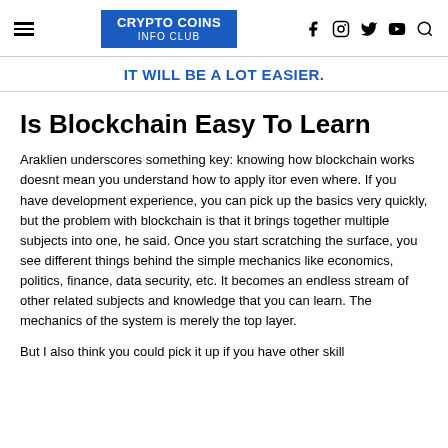CRYPTO COINS INFO CLUB
IT WILL BE A LOT EASIER.
Is Blockchain Easy To Learn
Araklien underscores something key: knowing how blockchain works doesnt mean you understand how to apply itor even where. If you have development experience, you can pick up the basics very quickly, but the problem with blockchain is that it brings together multiple subjects into one, he said. Once you start scratching the surface, you see different things behind the simple mechanics like economics, politics, finance, data security, etc. It becomes an endless stream of other related subjects and knowledge that you can learn. The mechanics of the system is merely the top layer.
But I also think you could pick it up if you have other skill